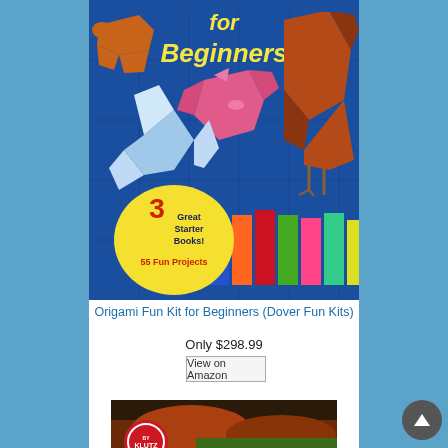[Figure (photo): Book cover of 'Origami Fun Kit for Beginners (Dover Fun Kits)' showing origami animals — a dachshund dog, a rooster/bird, a pig — on a blue background with colorful paper sheets, and a yellow circle stating '3 Great Starter Books! 55 Fun Projects']
Origami Fun Kit for Beginners (Dover Fun Kits)
Only $298.99
View on Amazon
[Figure (photo): Partial view of another product book cover, appears to be a Klutz book with fire/dragon imagery, only the bottom portion is visible]